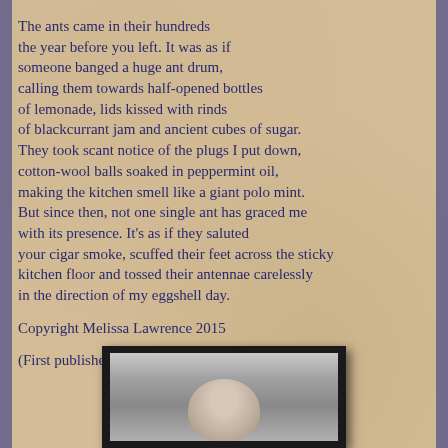The ants came in their hundreds the year before you left. It was as if someone banged a huge ant drum, calling them towards half-opened bottles of lemonade, lids kissed with rinds of blackcurrant jam and ancient cubes of sugar. They took scant notice of the plugs I put down, cotton-wool balls soaked in peppermint oil, making the kitchen smell like a giant polo mint. But since then, not one single ant has graced me with its presence. It's as if they saluted your cigar smoke, scuffed their feet across the sticky kitchen floor and tossed their antennae carelessly in the direction of my eggshell day.
Copyright Melissa Lawrence 2015
(First published in The Coffee House magazine.)
[Figure (photo): A framed black-and-white photograph showing the head/shoulders of a person, partially visible at the bottom of the page. The frame is dark/black with a grey photographic interior.]